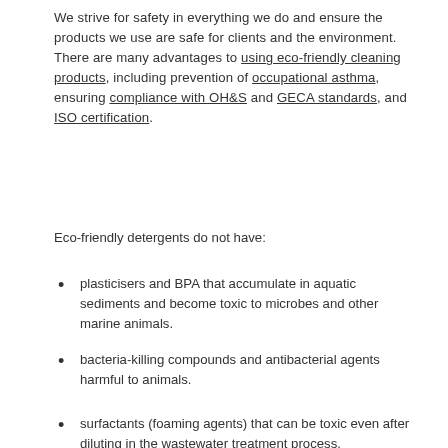We strive for safety in everything we do and ensure the products we use are safe for clients and the environment. There are many advantages to using eco-friendly cleaning products, including prevention of occupational asthma, ensuring compliance with OH&S and GECA standards, and ISO certification.
Eco-friendly detergents do not have:
plasticisers and BPA that accumulate in aquatic sediments and become toxic to microbes and other marine animals.
bacteria-killing compounds and antibacterial agents harmful to animals.
surfactants (foaming agents) that can be toxic even after diluting in the wastewater treatment process.